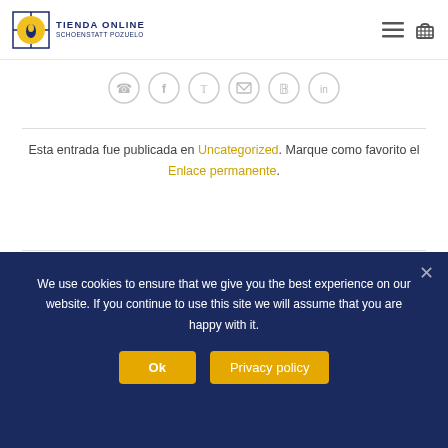TIENDA ONLINE SCHOENSTATT POZUELO
[Figure (other): Row of six social sharing icons (WhatsApp, Facebook, Twitter, Email, Pinterest, LinkedIn) in circular grey outlines]
Esta entrada fue publicada en Uncategorized. Marque como favorito el Enlace permanente.
[Figure (other): Circular grey avatar/user silhouette icon for author ADMIN]
ADMIN
We use cookies to ensure that we give you the best experience on our website. If you continue to use this site we will assume that you are happy with it.